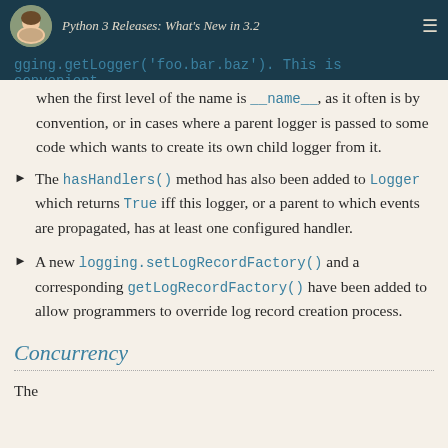Python 3 Releases: What's New in 3.2
gging.getLogger('foo.bar.baz'). This is convenient when the first level of the name is __name__, as it often is by convention, or in cases where a parent logger is passed to some code which wants to create its own child logger from it.
The hasHandlers() method has also been added to Logger which returns True iff this logger, or a parent to which events are propagated, has at least one configured handler.
A new logging.setLogRecordFactory() and a corresponding getLogRecordFactory() have been added to allow programmers to override log record creation process.
Concurrency
The...